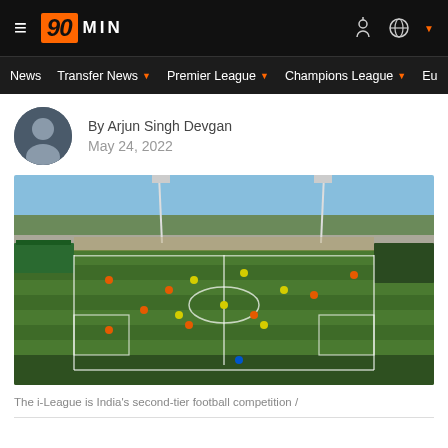90MIN
News | Transfer News | Premier League | Champions League | Eu
By Arjun Singh Devgan
May 24, 2022
[Figure (photo): Wide aerial shot of a football stadium with green pitch, floodlight towers, spectator stands, and trees in background. Players in orange and yellow visible on the pitch.]
The i-League is India's second-tier football competition /